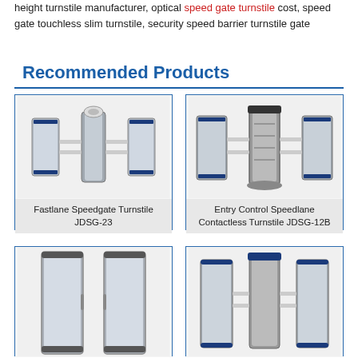height turnstile manufacturer, optical speed gate turnstile cost, speed gate touchless slim turnstile, security speed barrier turnstile gate
Recommended Products
[Figure (photo): Fastlane Speedgate Turnstile JDSG-23 product image showing two stainless steel speed gate turnstile panels]
Fastlane Speedgate Turnstile JDSG-23
[Figure (photo): Entry Control Speedlane Contactless Turnstile JDSG-12B product image showing speed gate turnstile with central pillar]
Entry Control Speedlane Contactless Turnstile JDSG-12B
[Figure (photo): Third turnstile product showing tall slim panels, bottom-left card, partially visible]
[Figure (photo): Fourth turnstile product showing stainless speed gate panels with blue trim, bottom-right card, partially visible]